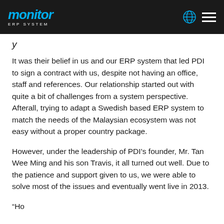Monitor ERP System
It was their belief in us and our ERP system that led PDI to sign a contract with us, despite not having an office, staff and references. Our relationship started out with quite a bit of challenges from a system perspective. Afterall, trying to adapt a Swedish based ERP system to match the needs of the Malaysian ecosystem was not easy without a proper country package.
However, under the leadership of PDI’s founder, Mr. Tan Wee Ming and his son Travis, it all turned out well. Due to the patience and support given to us, we were able to solve most of the issues and eventually went live in 2013.